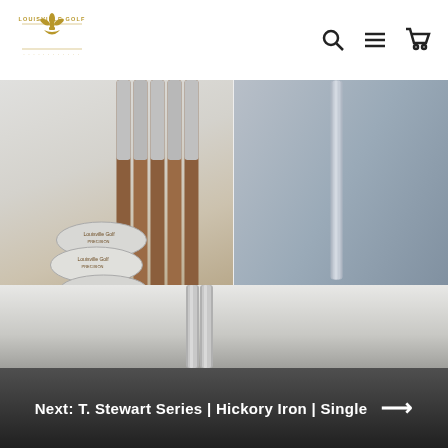Louisville Golf
[Figure (photo): Product photo of Precision Series Hickory Iron Set — multiple iron club heads with hickory wood shafts fanned out]
Precision Series | Hickory Iron Set
$1,299.00
[Figure (photo): Product photo of Precision Series Hickory Iron Single — a single iron club with steel shaft, partially visible]
Precision Serie... Single
$195.00
[Figure (photo): Partial product photo — steel shafts of a T. Stewart Series Hickory Iron Single, shown from below]
Next: T. Stewart Series | Hickory Iron | Single →